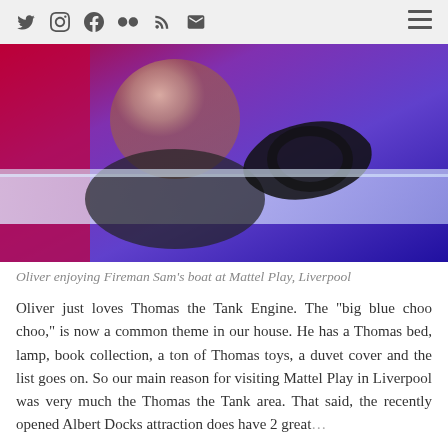Social media icons and hamburger menu
[Figure (photo): A baby/toddler smiling and leaning over the edge of Fireman Sam's boat ride at Mattel Play, Liverpool. The background is illuminated in purple/blue and red lighting.]
Oliver enjoying Fireman Sam's boat at Mattel Play, Liverpool
Oliver just loves Thomas the Tank Engine. The "big blue choo choo," is now a common theme in our house. He has a Thomas bed, lamp, book collection, a ton of Thomas toys, a duvet cover and the list goes on. So our main reason for visiting Mattel Play in Liverpool was very much the Thomas the Tank area. That said, the recently opened Albert Docks attraction does have 2 great...